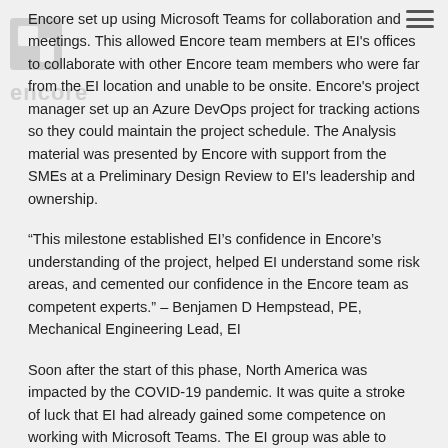Encore set up using Microsoft Teams for collaboration and meetings. This allowed Encore team members at EI's offices to collaborate with other Encore team members who were far from the EI location and unable to be onsite. Encore's project manager set up an Azure DevOps project for tracking actions so they could maintain the project schedule. The Analysis material was presented by Encore with support from the SMEs at a Preliminary Design Review to EI's leadership and ownership.
“This milestone established EI’s confidence in Encore’s understanding of the project, helped EI understand some risk areas, and cemented our confidence in the Encore team as competent experts.” – Benjamen D Hempstead, PE, Mechanical Engineering Lead, EI
Soon after the start of this phase, North America was impacted by the COVID-19 pandemic. It was quite a stroke of luck that EI had already gained some competence on working with Microsoft Teams. The EI group was able to quickly